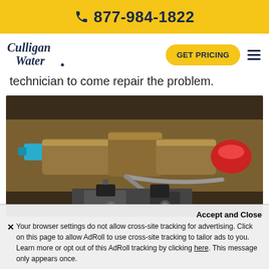877-984-1822
[Figure (logo): Culligan Water logo in navy blue cursive script]
GET PRICING
technician to come repair the problem.
[Figure (photo): Close-up photo of brass water valves/fittings with blue and red caps and a gray cable, and a clamp mechanism at the bottom]
Accept and Close
Your browser settings do not allow cross-site tracking for advertising. Click on this page to allow AdRoll to use cross-site tracking to tailor ads to you. Learn more or opt out of this AdRoll tracking by clicking here. This message only appears once.